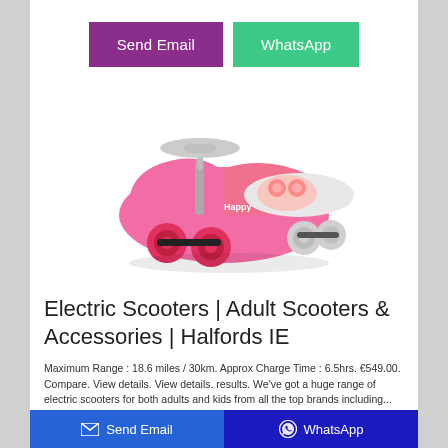[Figure (other): Two buttons: purple 'Send Email' and green 'WhatsApp']
[Figure (photo): Pink children's ride-on wiggle car toy with grey handlebars and red wheels, labeled 'Happy']
Electric Scooters | Adult Scooters & Accessories | Halfords IE
Maximum Range : 18.6 miles / 30km. Approx Charge Time : 6.5hrs. €549.00. Compare. View details. View details. results. We've got a huge range of electric scooters for both adults and kids from all the top brands including...
[Figure (other): Bottom bar with 'Send Email' button (blue, with envelope icon) and 'WhatsApp' button (dark blue, with WhatsApp icon)]